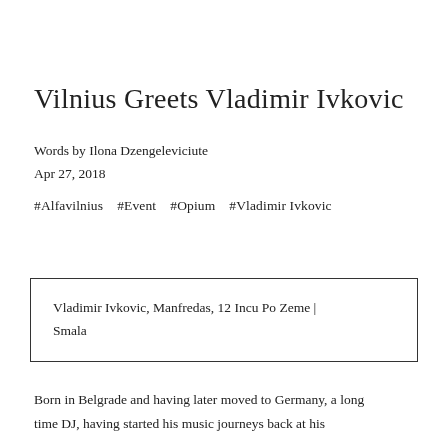Vilnius Greets Vladimir Ivkovic
Words by Ilona Dzengeleviciute
Apr 27, 2018
#Alfavilnius   #Event   #Opium   #Vladimir Ivkovic
Vladimir Ivkovic, Manfredas, 12 Incu Po Zeme | Smala
Born in Belgrade and having later moved to Germany, a long time DJ, having started his music journeys back at his